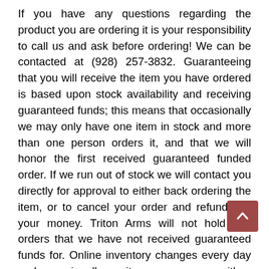If you have any questions regarding the product you are ordering it is your responsibility to call us and ask before ordering! We can be contacted at (928) 257-3832. Guaranteeing that you will receive the item you have ordered is based upon stock availability and receiving guaranteed funds; this means that occasionally we may only have one item in stock and more than one person orders it, and that we will honor the first received guaranteed funded order. If we run out of stock we will contact you directly for approval to either back ordering the item, or to cancel your order and refund you your money. Triton Arms will not hold any orders that we have not received guaranteed funds for. Online inventory changes every day and occasionally an item may appear with a typographical mistake to the item's description. Triton Arms does not guarantee that title, descriptions, quantities or pictures on the website to be error-free. Triton Arms reserves the right to refuse any order including but not limited to orders for items with errors in the description, price quantities, etc. In